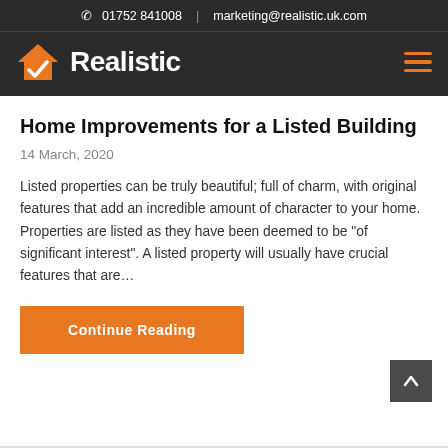☎ 01752 841008 | marketing@realistic.uk.com
[Figure (logo): Realistic logo with orange house/checkmark icon and white bold text 'Realistic' on dark background, with orange hamburger menu icon on the right]
Home Improvements for a Listed Building
14 March, 2020
Listed properties can be truly beautiful; full of charm, with original features that add an incredible amount of character to your home. Properties are listed as they have been deemed to be "of significant interest". A listed property will usually have crucial features that are…
Continue Reading